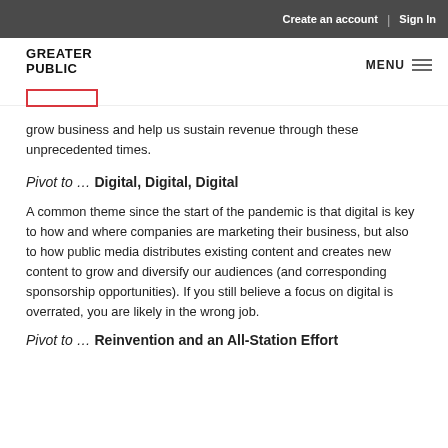Create an account | Sign In
GREATER PUBLIC | MENU
grow business and help us sustain revenue through these unprecedented times.
Pivot to … Digital, Digital, Digital
A common theme since the start of the pandemic is that digital is key to how and where companies are marketing their business, but also to how public media distributes existing content and creates new content to grow and diversify our audiences (and corresponding sponsorship opportunities). If you still believe a focus on digital is overrated, you are likely in the wrong job.
Pivot to … Reinvention and an All-Station Effort